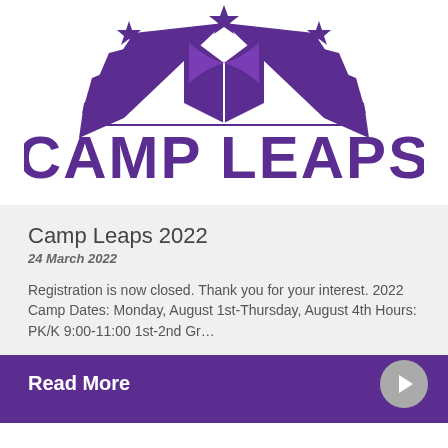[Figure (logo): Camp Leaps logo with stylized wings, open book, and stars above bold purple text reading CAMP LEAPS]
Camp Leaps 2022
24 March 2022
Registration is now closed. Thank you for your interest. 2022 Camp Dates: Monday, August 1st-Thursday, August 4th Hours: PK/K 9:00-11:00 1st-2nd Gr…
Read More